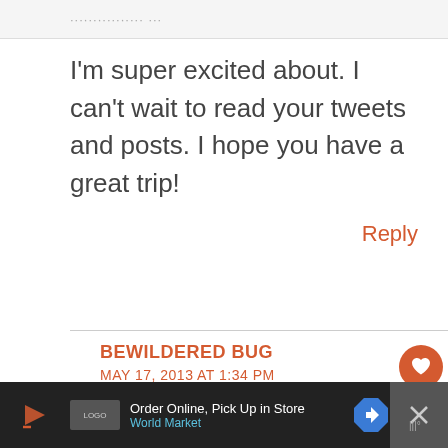I'm super excited about. I can't wait to read your tweets and posts. I hope you have a great trip!
Reply
BEWILDERED BUG
MAY 17, 2013 AT 1:34 PM
[Figure (screenshot): Ad bar at bottom: Order Online, Pick Up in Store - World Market advertisement with navigation arrow icon]
[Figure (infographic): Floating action buttons: heart/like button (orange circle with heart, count 1) and share button (white circle with share icon)]